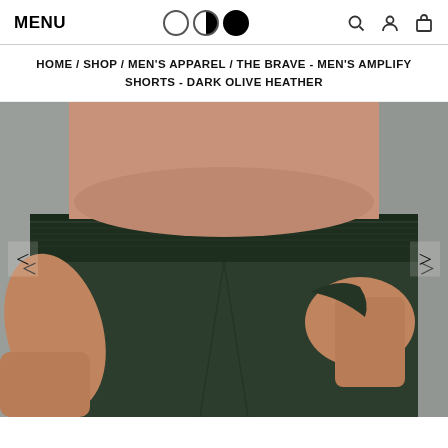MENU
HOME / SHOP / MEN'S APPAREL / THE BRAVE - MEN'S AMPLIFY SHORTS - DARK OLIVE HEATHER
[Figure (photo): A shirtless man wearing dark olive heather shorts with an elastic waistband, with his hand in the pocket. Image shown from waist down on a gray background, with left and right navigation arrows.]